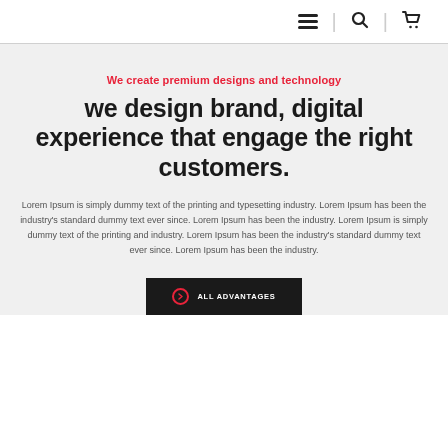Navigation bar with hamburger menu, search, and cart icons
We create premium designs and technology
we design brand, digital experience that engage the right customers.
Lorem Ipsum is simply dummy text of the printing and typesetting industry. Lorem Ipsum has been the industry's standard dummy text ever since. Lorem Ipsum has been the industry. Lorem Ipsum is simply dummy text of the printing and industry. Lorem Ipsum has been the industry's standard dummy text ever since. Lorem Ipsum has been the industry.
ALL ADVANTAGES